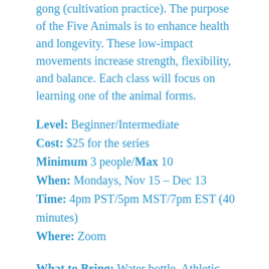gong (cultivation practice). The purpose of the Five Animals is to enhance health and longevity. These low-impact movements increase strength, flexibility, and balance. Each class will focus on learning one of the animal forms.
Level: Beginner/Intermediate
Cost: $25 for the series
Minimum 3 people/Max 10
When: Mondays, Nov 15 – Dec 13
Time: 4pm PST/5pm MST/7pm EST (40 minutes)
Where: Zoom
What to Bring: Water bottle. Athletic wear. Tennis shoes or yoga mat. Insight Timer App